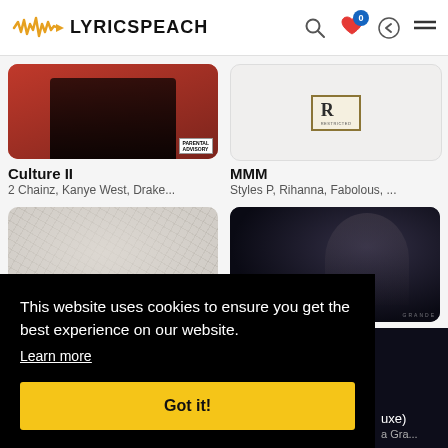LYRICSPEACH
[Figure (screenshot): LyricsPeach music website showing album grid with Culture II (2 Chainz, Kanye West, Drake...) and MMM (Styles P, Rihanna, Fabolous, ...) in top row, plus two more albums below, overlaid with cookie consent banner]
Culture II
2 Chainz, Kanye West, Drake...
MMM
Styles P, Rihanna, Fabolous, ...
This website uses cookies to ensure you get the best experience on our website.
Learn more
Got it!
uxe)
a Gra...